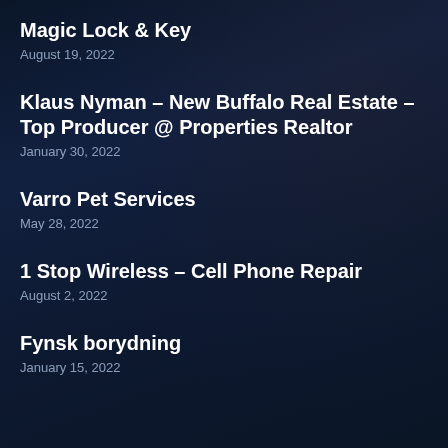Magic Lock & Key
August 19, 2022
Klaus Nyman – New Buffalo Real Estate – Top Producer @ Properties Realtor
January 30, 2022
Varro Pet Services
May 28, 2022
1 Stop Wireless – Cell Phone Repair
August 2, 2022
Fynsk borydning
January 15, 2022